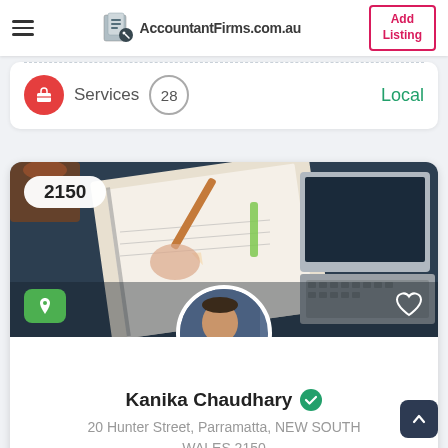AccountantFirms.com.au — Add Listing
Services  28  Local
[Figure (screenshot): Listing card with banner photo of person writing in notebook near a laptop, postcode badge 2150, location icon and heart icon overlay. Profile avatar of man in suit (Kanika Chaudhary). Name 'Kanika Chaudhary' with green verified checkmark. Address: 20 Hunter Street, Parramatta, NEW SOUTH WALES 2150.]
Kanika Chaudhary
20 Hunter Street, Parramatta, NEW SOUTH WALES 2150